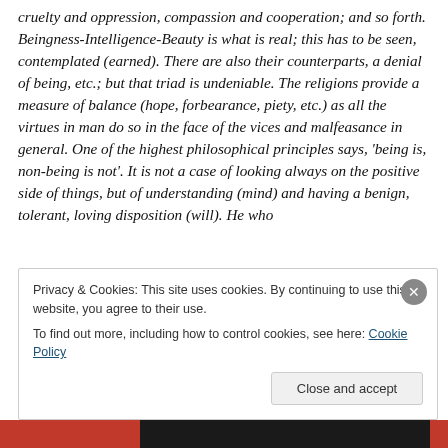cruelty and oppression, compassion and cooperation; and so forth. Beingness-Intelligence-Beauty is what is real; this has to be seen, contemplated (earned). There are also their counterparts, a denial of being, etc.; but that triad is undeniable. The religions provide a measure of balance (hope, forbearance, piety, etc.) as all the virtues in man do so in the face of the vices and malfeasance in general. One of the highest philosophical principles says, 'being is, non-being is not'. It is not a case of looking always on the positive side of things, but of understanding (mind) and having a benign, tolerant, loving disposition (will). He who
Privacy & Cookies: This site uses cookies. By continuing to use this website, you agree to their use.
To find out more, including how to control cookies, see here: Cookie Policy